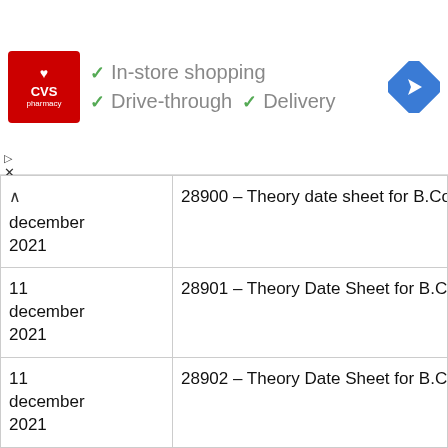[Figure (screenshot): CVS Pharmacy advertisement banner showing logo, In-store shopping, Drive-through and Delivery options with checkmarks, and a navigation icon]
| Date | Description |
| --- | --- |
| december 2021 | 28900 – Theory date sheet for B.Com Semester Special Chance Exam. De |
| 11 december 2021 | 28901 – Theory Date Sheet for B.Co Semester Special Chance Examinati |
| 11 december 2021 | 28902 – Theory Date Sheet for B.Co Course) Special Chance Examinatio |
| 11 december | 28903 – Theory date sheet of B.Com Semester Special Chance Exam. De |